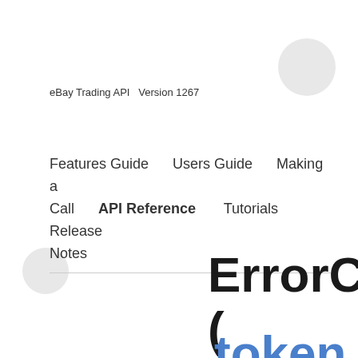eBay Trading API  Version 1267
Features Guide      Users Guide      Making a Call      API Reference      Tutorials      Release Notes
ErrorCla(
token